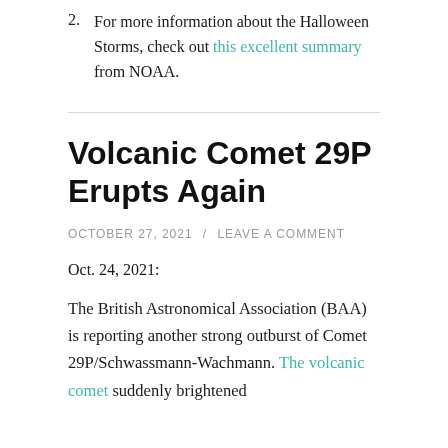2. For more information about the Halloween Storms, check out this excellent summary from NOAA.
Volcanic Comet 29P Erupts Again
OCTOBER 27, 2021 / LEAVE A COMMENT
Oct. 24, 2021:
The British Astronomical Association (BAA) is reporting another strong outburst of Comet 29P/Schwassmann-Wachmann. The volcanic comet suddenly brightened